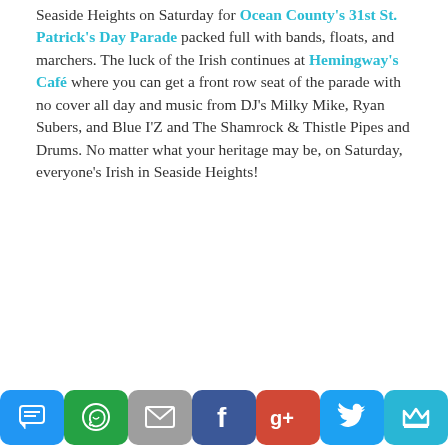Seaside Heights on Saturday for Ocean County's 31st St. Patrick's Day Parade packed full with bands, floats, and marchers. The luck of the Irish continues at Hemingway's Café where you can get a front row seat of the parade with no cover all day and music from DJ's Milky Mike, Ryan Subers, and Blue I'Z and The Shamrock & Thistle Pipes and Drums. No matter what your heritage may be, on Saturday, everyone's Irish in Seaside Heights!
Celebrate Dr. Seuss's Birthday
Location: Jenkinson's Aquarium, 300 Ocean Avenue, Pt. Pleasant Beach
Date: Saturday, March 7th 1 – 5:00pm
Cost: General Admission
[Figure (photo): Broken image placeholder with italic caption 'Jersey shore weekend']
Jersey shore weekend
[Figure (other): Social sharing buttons row: SMS, WhatsApp, Email, Facebook, Google+, Twitter, Crown/Moot]